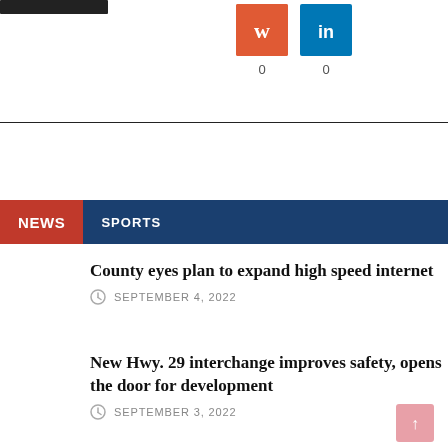[Figure (other): StumbleUpon social share button with count 0]
[Figure (other): LinkedIn social share button with count 0]
0
0
NEWS   SPORTS
County eyes plan to expand high speed internet
SEPTEMBER 4, 2022
New Hwy. 29 interchange improves safety, opens the door for development
SEPTEMBER 3, 2022